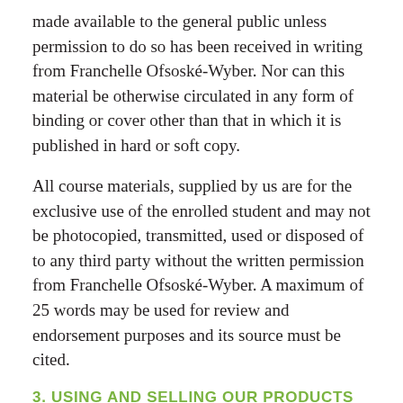made available to the general public unless permission to do so has been received in writing from Franchelle Ofsoské-Wyber. Nor can this material be otherwise circulated in any form of binding or cover other than that in which it is published in hard or soft copy.
All course materials, supplied by us are for the exclusive use of the enrolled student and may not be photocopied, transmitted, used or disposed of to any third party without the written permission from Franchelle Ofsoské-Wyber. A maximum of 25 words may be used for review and endorsement purposes and its source must be cited.
3. USING AND SELLING OUR PRODUCTS
Unless a formal agreement has been entered into with us, we are not a supplier of raw materials or ingredients for you to manufacture your own